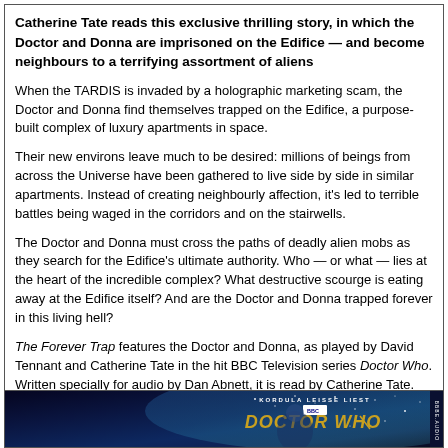Catherine Tate reads this exclusive thrilling story, in which the Doctor and Donna are imprisoned on the Edifice — and become neighbours to a terrifying assortment of aliens
When the TARDIS is invaded by a holographic marketing scam, the Doctor and Donna find themselves trapped on the Edifice, a purpose-built complex of luxury apartments in space.
Their new environs leave much to be desired: millions of beings from across the Universe have been gathered to live side by side in similar apartments. Instead of creating neighbourly affection, it's led to terrible battles being waged in the corridors and on the stairwells.
The Doctor and Donna must cross the paths of deadly alien mobs as they search for the Edifice's ultimate authority. Who — or what — lies at the heart of the incredible complex? What destructive scourge is eating away at the Edifice itself? And are the Doctor and Donna trapped forever in this living hell?
The Forever Trap features the Doctor and Donna, as played by David Tennant and Catherine Tate in the hit BBC Television series Doctor Who. Written specially for audio by Dan Abnett, it is read by Catherine Tate.
[Figure (photo): Book cover for Doctor Who The Forever Trap, German edition read by Kordula Leisse. Dark space background with BBC logo and DOCTOR WHO text in gold, with a figure visible. Published by ББBE.AUDIO.]